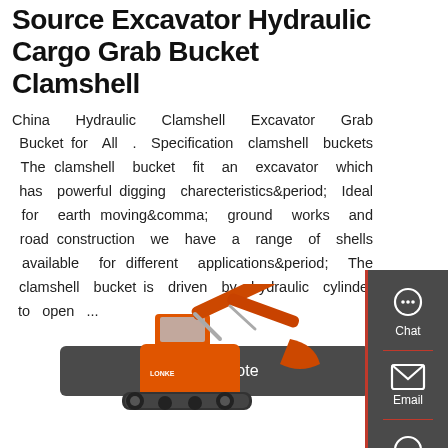Source Excavator Hydraulic Cargo Grab Bucket Clamshell
China Hydraulic Clamshell Excavator Grab Bucket for All . Specification clamshell buckets The clamshell bucket fit an excavator which has powerful digging charecteristics&period; Ideal for earth moving&comma; ground works and road construction we have a range of shells available for different applications&period; The clamshell bucket is driven by hydraulic cylinder to open ...
Get a Quote
[Figure (photo): Orange excavator with hydraulic grab bucket/clamshell attachment, shown from the side]